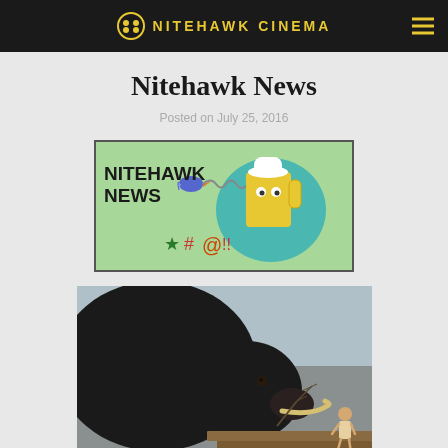NITEHAWK CINEMA
Nitehawk News
Posted on July 25, 2016
[Figure (illustration): Nitehawk News graphic with cartoon bird and beer mug character on green background, with text 'NITEHAWK NEWS' and symbols *#6!!]
[Figure (photo): Movie still showing a large black boar/pig face-to-face with a small child standing on wooden planks, with bare branches visible, overcast sky in background]